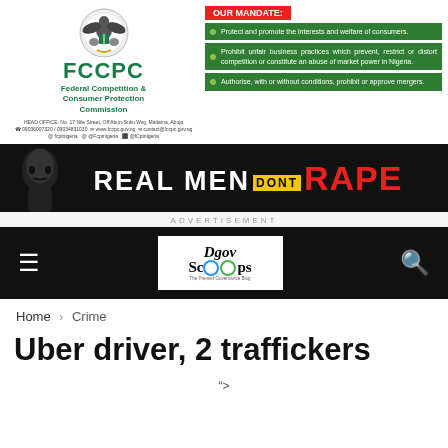[Figure (logo): FCCPC Federal Competition and Consumer Protection Commission logo with Nigerian coat of arms emblem]
[Figure (infographic): OUR MANDATE panel with three green boxes: 1) Protect and promote the interests and welfare of consumers. 2) Prohibit unfair business practices which prevent, restrict or distort competition or constitute an abuse of market power in Nigeria. 3) Authorise, with or without conditions, prohibit or approve mergers.]
[Figure (photo): Real Men Don't Rape awareness banner advertisement on black background with silhouette of a face on the left]
ADVERTISEMENT
[Figure (logo): Dgov Scoops website navigation bar logo on black background with hamburger menu and search icon]
Home > Crime
Uber driver, 2 traffickers